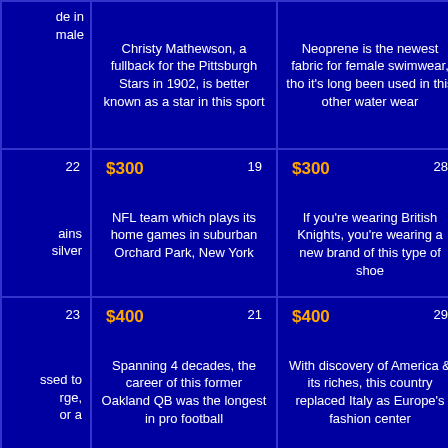de in male
Christy Mathewson, a fullback for the Pittsburgh Stars in 1902, is better known as a star in this sport
Neoprene is the newest fabric for female swimwear, tho it's long been used in this other water wear
By the time fought in our was already Bri
22
$300 19
$300 28
$3
ains silver
NFL team which plays its home games in suburban Orchard Park, New York
If you're wearing British Knights, you're wearing a new brand of this type of shoe
He was the le in the Battles & White
23
$400 21
$400 29
$4
ssed to rge, or a
Spanning 4 decades, the career of this former Oakland QB was the longest in pro football
With discovery of America & its riches, this country replaced Italy as Europe's fashion center
The 1st Ame aggression wa of this fort by Allen's